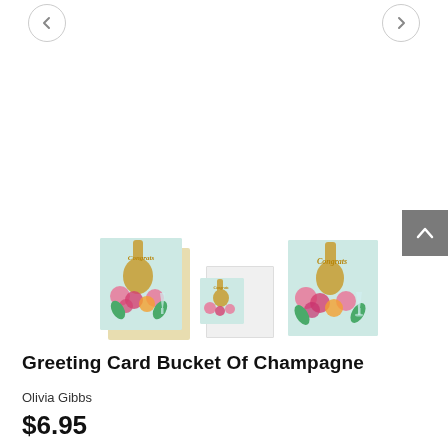[Figure (screenshot): Product listing page showing three greeting card images with champagne bucket floral design, navigation arrows, and a scroll-to-top button]
Greeting Card Bucket Of Champagne
Olivia Gibbs
$6.95